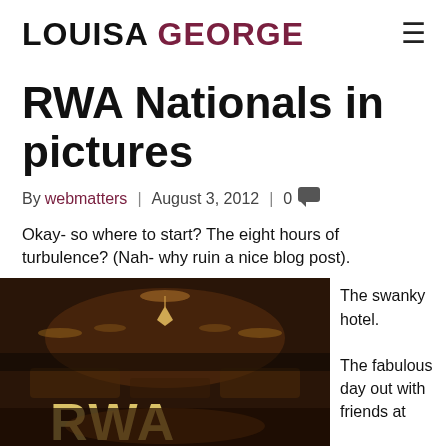LOUISA GEORGE
RWA Nationals in pictures
By webmatters | August 3, 2012 | 0
Okay- so where to start? The eight hours of turbulence? (Nah- why ruin a nice blog post).
[Figure (photo): Photo of an illuminated RWA hotel lobby/sign in a dimly lit, warm-toned ballroom or hotel interior.]
The swanky hotel.

The fabulous day out with friends at